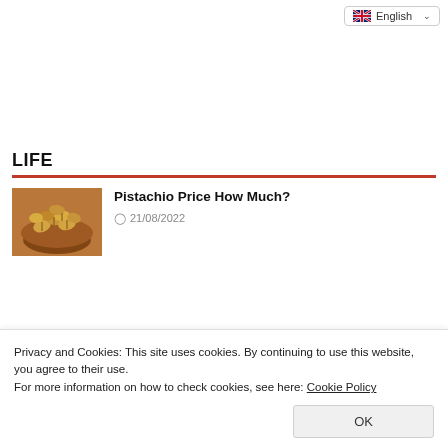English
LIFE
Pistachio Price How Much?
21/08/2022
Privacy and Cookies: This site uses cookies. By continuing to use this website, you agree to their use.
For more information on how to check cookies, see here: Cookie Policy
OK